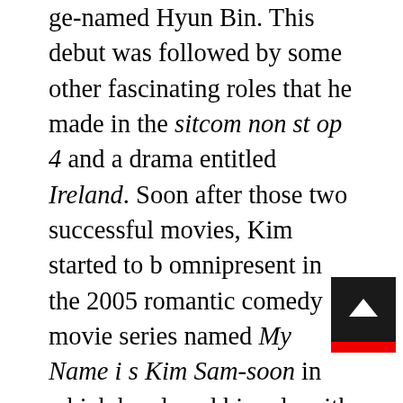ge-named Hyun Bin. This debut was followed by some other fascinating roles that he made in the sitcom non stop 4 and a drama entitled Ireland. Soon after those two successful movies, Kim started to b omnipresent in the 2005 romantic comedy movie series named My Name is Kim Sam-soon in which he played his role with Kim Sun-ah. It was such a great success that his Sam-soon movie shad stricken massive popularity with the average ratings of more than thirty-seven percent and fifty point five percent as the finale. This success brought him the Top Excellence Award which he gained at the MBC Drama Awards. In addition to his fame in those movies, Kim also gained his popularity in 2010 with a secret garden. This was known as one of the most romantic fantasies regarding a fussy as well as an arrogant department manager and a stunt woman. Still, in the same year Kim gained his fame in 2012 SBS Drama Awards and in the 47th Baeksang Arts Awards in as much as his performance was regarded to be fabulous. These were all the o